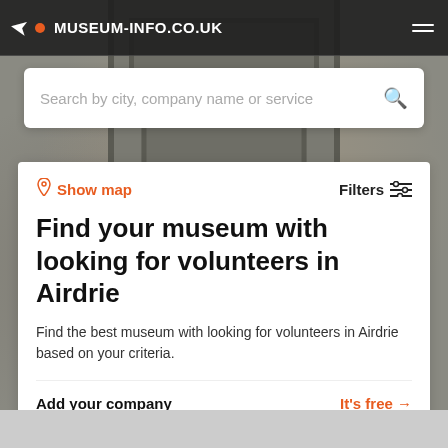MUSEUM-INFO.CO.UK
Search by city, company name or service
Show map
Filters
Find your museum with looking for volunteers in Airdrie
Find the best museum with looking for volunteers in Airdrie based on your criteria.
Add your company
It's free →